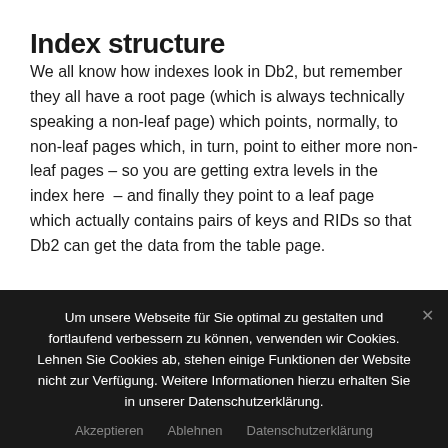Index structure
We all know how indexes look in Db2, but remember they all have a root page (which is always technically speaking a non-leaf page) which points, normally, to non-leaf pages which, in turn, point to either more non-leaf pages – so you are getting extra levels in the index here  – and finally they point to a leaf page which actually contains pairs of keys and RIDs so that Db2 can get the data from the table page.
Um unsere Webseite für Sie optimal zu gestalten und fortlaufend verbessern zu können, verwenden wir Cookies. Lehnen Sie Cookies ab, stehen einige Funktionen der Website nicht zur Verfügung. Weitere Informationen hierzu erhalten Sie in unserer Datenschutzerklärung.
Akzeptieren   Ablehnen   Datenschutzerklärung